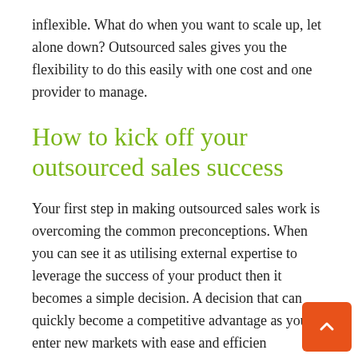inflexible. What do when you want to scale up, let alone down? Outsourced sales gives you the flexibility to do this easily with one cost and one provider to manage.
How to kick off your outsourced sales success
Your first step in making outsourced sales work is overcoming the common preconceptions. When you can see it as utilising external expertise to leverage the success of your product then it becomes a simple decision. A decision that can quickly become a competitive advantage as you enter new markets with ease and efficiency.
To select the right outsourced sales partner